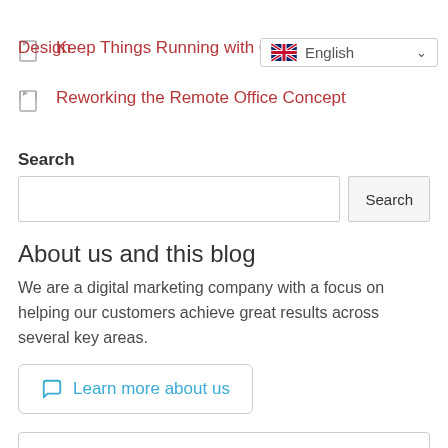Design
[Figure (screenshot): English language selector dropdown with UK flag]
Keep Things Running with Google
Reworking the Remote Office Concept
Search
[Figure (screenshot): Search input box with Search button]
About us and this blog
We are a digital marketing company with a focus on helping our customers achieve great results across several key areas.
Learn more about us